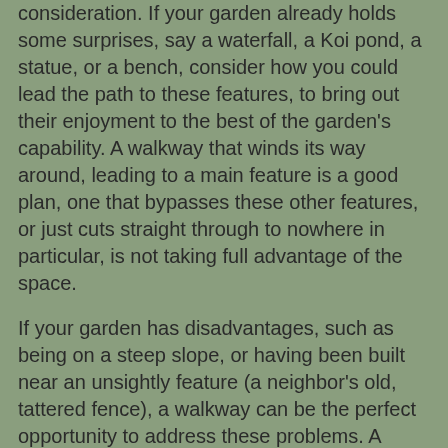consideration. If your garden already holds some surprises, say a waterfall, a Koi pond, a statue, or a bench, consider how you could lead the path to these features, to bring out their enjoyment to the best of the garden's capability. A walkway that winds its way around, leading to a main feature is a good plan, one that bypasses these other features, or just cuts straight through to nowhere in particular, is not taking full advantage of the space.
If your garden has disadvantages, such as being on a steep slope, or having been built near an unsightly feature (a neighbor's old, tattered fence), a walkway can be the perfect opportunity to address these problems. A slope can be corrected with a walkway that winds back and forth, taking some of the edge off the overall slope, or it could be put in so that it winds away from the unsightly object, drawing the visitor's eye away from the negative.
Whichever reason you choose to put in a walkway, whatever materials you choose to build it from, wherever you let it wander too, all of these choices will ultimately be a reflection of how you perceive the garden itself. In addition, whether it